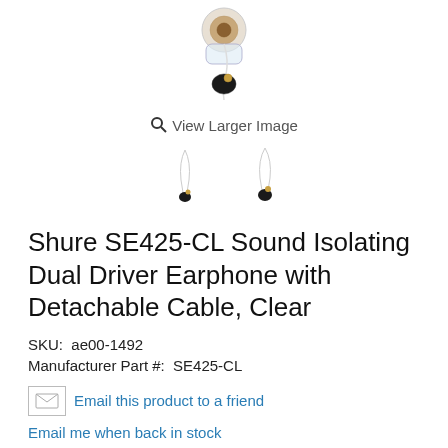[Figure (photo): Shure SE425-CL earphone product photo showing clear earbuds]
View Larger Image
[Figure (photo): Two thumbnail images of Shure SE425-CL earphones from different angles]
Shure SE425-CL Sound Isolating Dual Driver Earphone with Detachable Cable, Clear
SKU:  ae00-1492
Manufacturer Part #:  SE425-CL
Email this product to a friend
Email me when back in stock